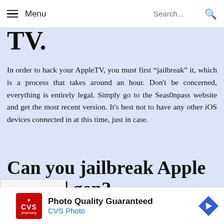Menu  Search...
TV.
In order to hack your AppleTV, you must first “jailbreak” it, which is a process that takes around an hour. Don't be concerned, everything is entirely legal. Simply go to the Seas0npass website and get the most recent version. It’s best not to have any other iOS devices connected in at this time, just in case.
Can you jailbreak Apple TV 2nd gen?
[Figure (screenshot): Advertisement banner for CVS Photo with red CVS pharmacy logo, text 'Photo Quality Guaranteed' and 'CVS Photo' in blue, and a navigation arrow icon on the right.]